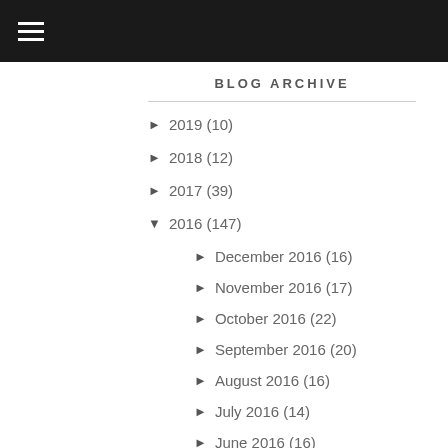☰ (hamburger menu)
BLOG ARCHIVE
► 2019 (10)
► 2018 (12)
► 2017 (39)
▼ 2016 (147)
► December 2016 (16)
► November 2016 (17)
► October 2016 (22)
► September 2016 (20)
► August 2016 (16)
► July 2016 (14)
► June 2016 (16)
► May 2016 (7)